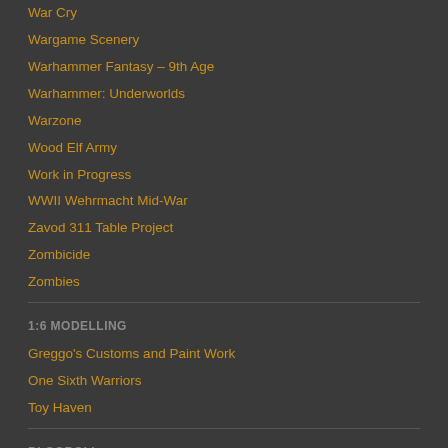War Cry
Wargame Scenery
Warhammer Fantasy – 9th Age
Warhammer: Underworlds
Warzone
Wood Elf Army
Work in Progress
WWII Wehrmacht Mid-War
Zavod 311 Table Project
Zombicide
Zombies
1:6 MODELLING
Greggo's Customs and Paint Work
One Sixth Warriors
Toy Haven
BLOGROLL
Dreadaxe Games
Pat's 1:72 Model Dioramas